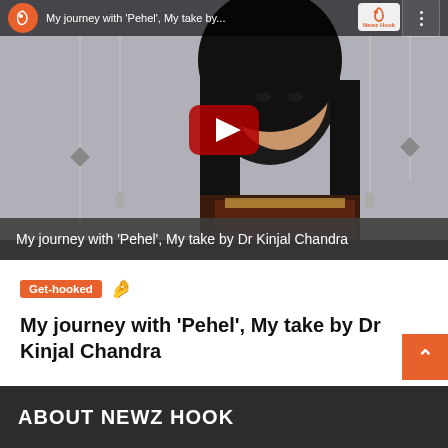[Figure (screenshot): YouTube video thumbnail showing a young woman with long black hair. The video is titled 'My journey with Pehel, My take by...' with YouTube and NewzHook branding. A red YouTube play button is centered on the thumbnail. The bottom of the video has a dark bar with the text 'My journey with ‘Pehel’, My take by Dr Kinjal Chandra'.]
Get-hooked 👋
My journey with ‘Pehel’, My take by Dr Kinjal Chandra
ABOUT NEWZ HOOK